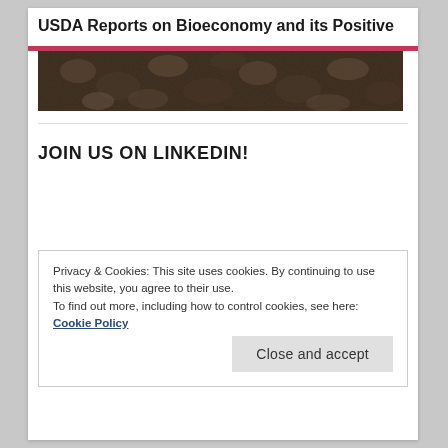USDA Reports on Bioeconomy and its Positive ...
[Figure (photo): Close-up photograph of dark textured organic material, possibly seeds, grain, or plant matter.]
JOIN US ON LINKEDIN!
Privacy & Cookies: This site uses cookies. By continuing to use this website, you agree to their use.
To find out more, including how to control cookies, see here: Cookie Policy
Close and accept